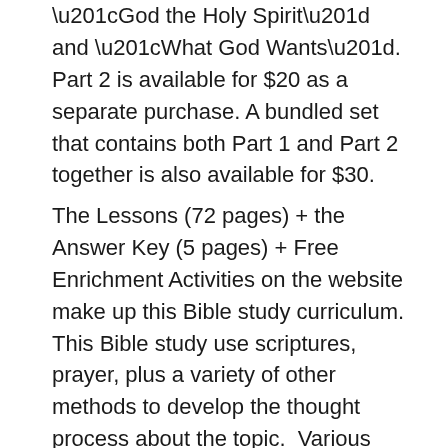“God the Holy Spirit” and “What God Wants”. Part 2 is available for $20 as a separate purchase. A bundled set that contains both Part 1 and Part 2 together is also available for $30.
The Lessons (72 pages) + the Answer Key (5 pages) + Free Enrichment Activities on the website make up this Bible study curriculum. This Bible study use scriptures, prayer, plus a variety of other methods to develop the thought process about the topic. Various methods used include scriptures, prayer, pictures, charts, definitions, drama, drawings, fill-in-the-blanks, illustrations, matching, sequence, multiple choice, and true or false type questions. There is a place to write down